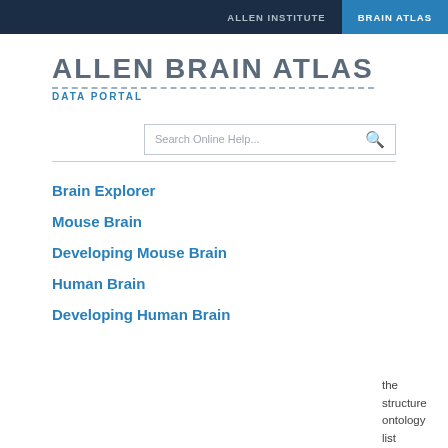ALLEN INSTITUTE | BRAIN ATLAS
ALLEN BRAIN ATLAS
DATA PORTAL
Brain Explorer
Mouse Brain
Developing Mouse Brain
Human Brain
Developing Human Brain
the structure ontology list above the heatmap in the Human Brain Atlas will